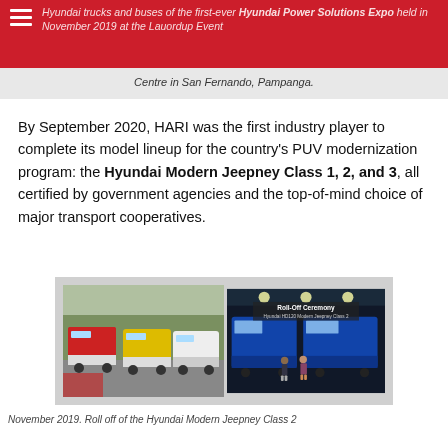Hyundai trucks and buses of the first-ever Hyundai Power Solutions Expo held in November 2019 at the Lauordup Event Centre in San Fernando, Pampanga.
Centre in San Fernando, Pampanga.
By September 2020, HARI was the first industry player to complete its model lineup for the country's PUV modernization program: the Hyundai Modern Jeepney Class 1, 2, and 3, all certified by government agencies and the top-of-mind choice of major transport cooperatives.
[Figure (photo): Two photos side by side: left photo shows Hyundai modern jeepneys/buses parked on a road; right photo shows a Roll-Off Ceremony for Hyundai HD120 Modern Jeepney Class 2 with blue buses and two people standing in front.]
November 2019. Roll off of the Hyundai Modern Jeepney Class 2